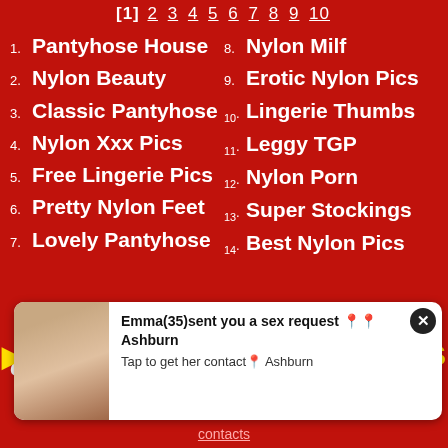[1] 2 3 4 5 6 7 8 9 10
1. Pantyhose House
2. Nylon Beauty
3. Classic Pantyhose
4. Nylon Xxx Pics
5. Free Lingerie Pics
6. Pretty Nylon Feet
7. Lovely Pantyhose
8. Nylon Milf
9. Erotic Nylon Pics
10. Lingerie Thumbs
11. Leggy TGP
12. Nylon Porn
13. Super Stockings
14. Best Nylon Pics
[Figure (photo): Advertisement popup with photo and text: Emma(35)sent you a sex request Ashburn. Tap to get her contact Ashburn.]
contacts